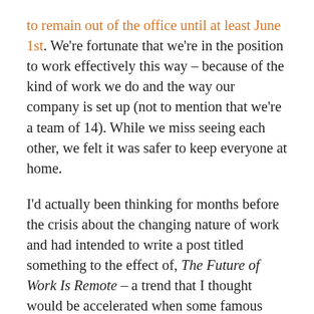to remain out of the office until at least June 1st. We're fortunate that we're in the position to work effectively this way – because of the kind of work we do and the way our company is set up (not to mention that we're a team of 14). While we miss seeing each other, we felt it was safer to keep everyone at home.
I'd actually been thinking for months before the crisis about the changing nature of work and had intended to write a post titled something to the effect of, The Future of Work Is Remote – a trend that I thought would be accelerated when some famous remote tech companies such as Automatic (a parent company of WordPress) went public and the world could see just how productive and effective a fully remote workforce could be (wish I had written that – would have been a great reference point right now). In our own portfolio, we have a few